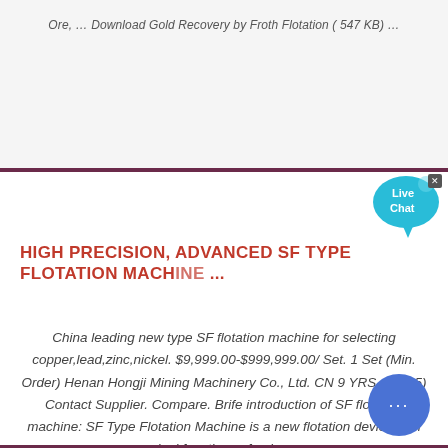Ore, … Download Gold Recovery by Froth Flotation ( 547 KB) …
HIGH PRECISION, ADVANCED SF TYPE FLOTATION MACHINE …
China leading new type SF flotation machine for selecting copper,lead,zinc,nickel. $9,999.00-$999,999.00/ Set. 1 Set (Min. Order) Henan Hongji Mining Machinery Co., Ltd. CN 9 YRS. 5.0 ( 5) Contact Supplier. Compare. Brife introduction of SF flotation machine: SF Type Flotation Machine is a new flotation device with dual functions of pulp …